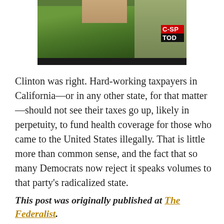[Figure (photo): Partial image of a person in a green outfit, with a C-SPAN TODAY TV chyron visible in the upper right corner. A dark bar runs along the bottom of the image.]
Clinton was right. Hard-working taxpayers in California—or in any other state, for that matter—should not see their taxes go up, likely in perpetuity, to fund health coverage for those who came to the United States illegally. That is little more than common sense, and the fact that so many Democrats now reject it speaks volumes to that party's radicalized state.
This post was originally published at The Federalist.